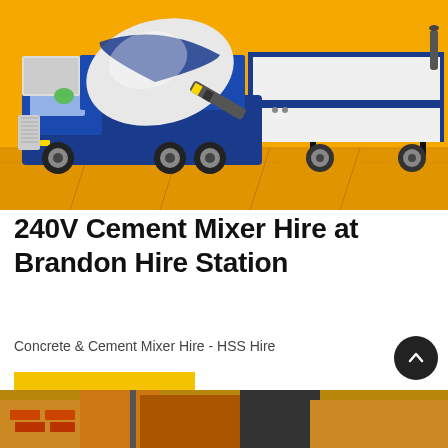[Figure (photo): Cement mixer truck in blue and white with a trailer/pump unit, both on an orange/yellow background. The mixer drum is prominent on the blue vehicle on the left, and a white trailer with blue accents is on the right.]
240V Cement Mixer Hire at Brandon Hire Station
Concrete & Cement Mixer Hire - HSS Hire
Learn More
[Figure (photo): Partial view of construction materials and equipment at the bottom of the page.]